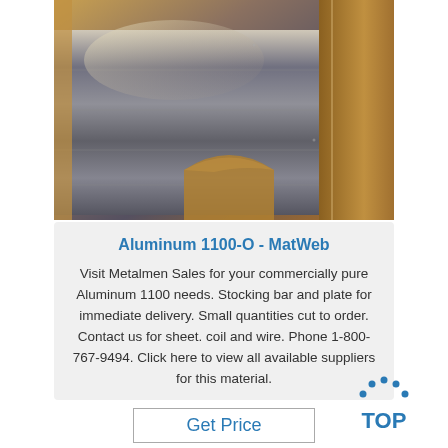[Figure (photo): Photo of aluminum sheets/plates with brown paper packaging, showing metallic sheen under bright lighting.]
Aluminum 1100-O - MatWeb
Visit Metalmen Sales for your commercially pure Aluminum 1100 needs. Stocking bar and plate for immediate delivery. Small quantities cut to order. Contact us for sheet. coil and wire. Phone 1-800-767-9494. Click here to view all available suppliers for this material.
[Figure (logo): TOP badge logo with blue dots arranged in an arc above the word TOP in blue letters.]
Get Price